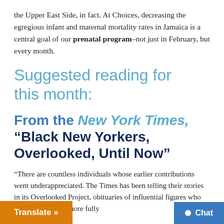the Upper East Side, in fact. At Choices, decreasing the egregious infant and maternal mortality rates in Jamaica is a central goal of our prenatal program–not just in February, but every month.
Suggested reading for this month:
From the New York Times, "Black New Yorkers, Overlooked, Until Now"
“There are countless individuals whose earlier contributions went underappreciated. The Times has been telling their stories in its Overlooked Project, obituaries of influential figures who should have been more fully